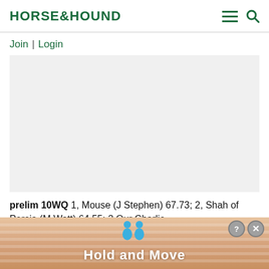HORSE&HOUND
Join | Login
[Figure (other): Gray advertisement placeholder box]
prelim 10WQ 1, Mouse (J Stephen) 67.73; 2, Shah of Persia (M Watt) 64.55; 2 Our Charlie
[Figure (other): Bottom banner ad with blue figures icons and text 'Hold and Move', with close button overlay]